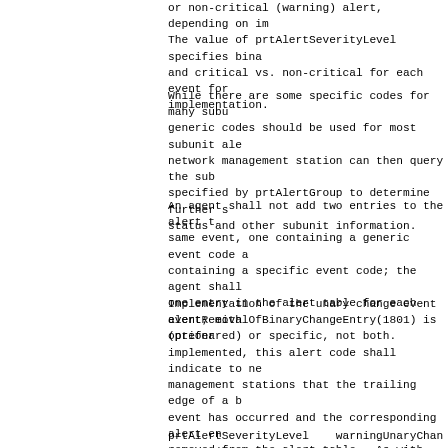or non-critical (warning) alert, depending on im
The value of prtAlertSeverityLevel specifies bina
and critical vs. non-critical for each event for
implementation.
While there are some specific codes for many subu
generic codes should be used for most subunit ale
network management station can then query the sub
specified by prtAlertGroup to determine further s
status and other subunit information.
An agent shall not add two entries to the alert t
same event, one containing a generic event code a
containing a specific event code; the agent shall
one entry in the alert table for each event; eith
(preferred) or specific, not both.
Implementation of the unary change event
alertRemovalOfBinaryChangeEntry(1801) is optiona
implemented, this alert code shall indicate to ne
management stations that the trailing edge of a b
event has occurred and the corresponding alert en
removed from the alert table.  As with all events
alertRemovalOfBinaryChangeEntry(1801) alert shall
at the end of the alert table.  Such an alert tab
shall specify the following information:
prtAlertSeverityLevel    warningUnaryChangeEvent(4
prtAlertTrainingLevel    noInterventionRequired(7
prtAlertGroup            alert(18)